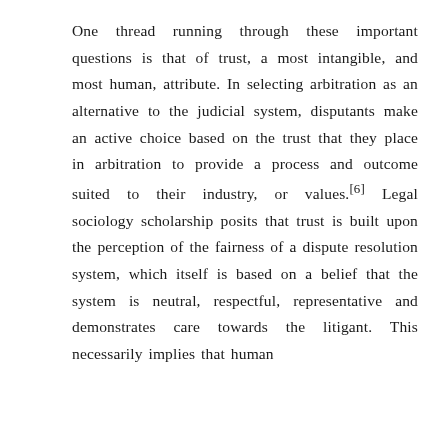One thread running through these important questions is that of trust, a most intangible, and most human, attribute. In selecting arbitration as an alternative to the judicial system, disputants make an active choice based on the trust that they place in arbitration to provide a process and outcome suited to their industry, or values.[6] Legal sociology scholarship posits that trust is built upon the perception of the fairness of a dispute resolution system, which itself is based on a belief that the system is neutral, respectful, representative and demonstrates care towards the litigant. This necessarily implies that human